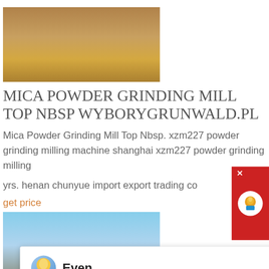[Figure (photo): Mining/grinding equipment site with piles of material on dry ground]
MICA POWDER GRINDING MILL TOP NBSP WYBORYGRUNWALD.PL
Mica Powder Grinding Mill Top Nbsp. xzm227 powder grinding milling machine shanghai xzm227 powder grinding milling ...
yrs. henan chunyue import export trading co
get price
[Figure (screenshot): Chat popup overlay with avatar, name Even, and message: Hello, I am Even, I am very glad to talk with you!]
[Figure (photo): Mining/construction site with heavy machinery, conveyor belts, palm trees and blue sky in background]